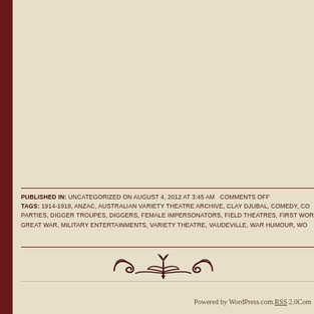PUBLISHED IN: UNCATEGORIZED ON AUGUST 4, 2012 AT 3:45 AM  COMMENTS OFF
TAGS: 1914-1918, ANZAC, AUSTRALIAN VARIETY THEATRE ARCHIVE, CLAY DJUBAL, COMEDY, CO...
PARTIES, DIGGER TROUPES, DIGGERS, FEMALE IMPERSONATORS, FIELD THEATRES, FIRST WOR...
GREAT WAR, MILITARY ENTERTAINMENTS, VARIETY THEATRE, VAUDEVILLE, WAR HUMOUR, WO...
[Figure (illustration): Decorative ornamental divider with a fleur-de-lis style center element flanked by curved scroll designs]
Powered by WordPress.com. RSS 2.0Com...